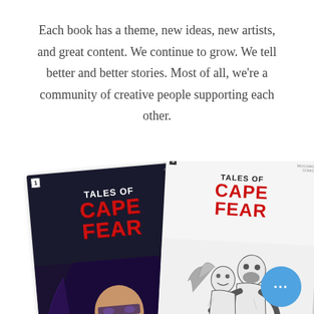Each book has a theme, new ideas, new artists, and great content. We continue to grow. We tell better and better stories. Most of all, we're a community of creative people supporting each other.
[Figure (photo): Two comic book covers for 'Tales of Cape Fear'. Left cover is colored/dark with a woman holding a glowing orb. Right cover is black and white with two figures embracing. A blue chat bubble with three dots appears in the bottom right corner.]